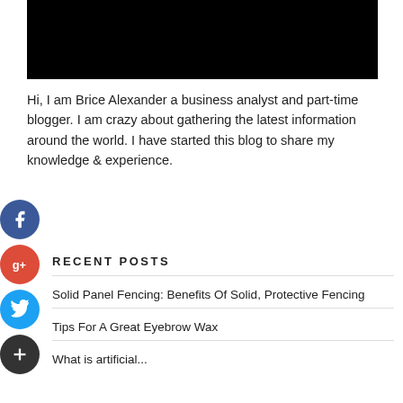[Figure (photo): Black rectangle image at top of page]
Hi, I am Brice Alexander a business analyst and part-time blogger. I am crazy about gathering the latest information around the world. I have started this blog to share my knowledge & experience.
[Figure (illustration): Social media icons: Facebook (blue circle), Google+ (red circle), Twitter (blue circle), Plus/Add (dark circle)]
RECENT POSTS
Solid Panel Fencing: Benefits Of Solid, Protective Fencing
Tips For A Great Eyebrow Wax
What is artificial... (partial)